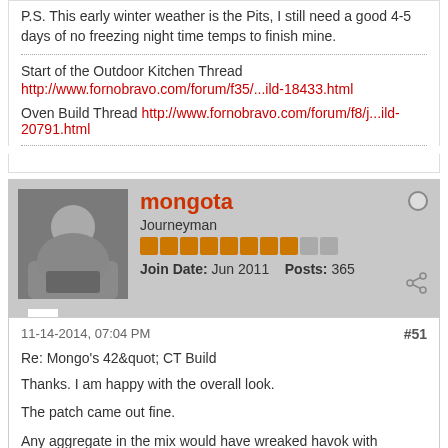P.S. This early winter weather is the Pits, I still need a good 4-5 days of no freezing night time temps to finish mine.
Start of the Outdoor Kitchen Thread
http://www.fornobravo.com/forum/f35/...ild-18433.html
Oven Build Thread http://www.fornobravo.com/forum/f8/j...ild-20791.html
mongota
Journeyman
Join Date: Jun 2011  Posts: 365
11-14-2014, 07:04 PM
#51
Re: Mongo's 42&quot; CT Build
Thanks. I am happy with the overall look.
The patch came out fine.
Any aggregate in the mix would have wreaked havok with feathering out the repair, so I mixed up a little mortar mix and tinted it with pigment. Texturally it may look a little different, but no worries on my end.